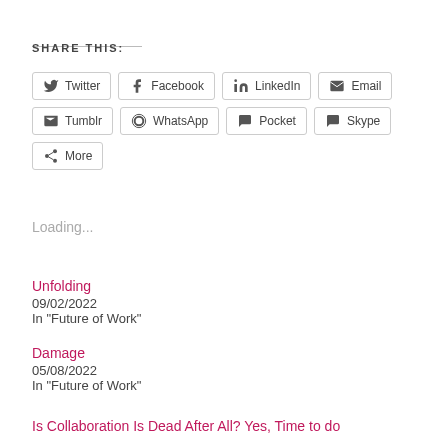SHARE THIS:
[Figure (other): Social share buttons: Twitter, Facebook, LinkedIn, Email, Tumblr, WhatsApp, Pocket, Skype, More]
Loading...
Unfolding
09/02/2022
In "Future of Work"
Damage
05/08/2022
In "Future of Work"
Is Collaboration Is Dead After All? Yes, Time to do